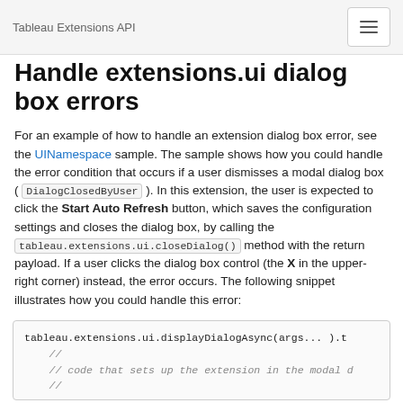Tableau Extensions API
Handle extensions.ui dialog box errors
For an example of how to handle an extension dialog box error, see the UINamespace sample. The sample shows how you could handle the error condition that occurs if a user dismisses a modal dialog box ( DialogClosedByUser ). In this extension, the user is expected to click the Start Auto Refresh button, which saves the configuration settings and closes the dialog box, by calling the tableau.extensions.ui.closeDialog() method with the return payload. If a user clicks the dialog box control (the X in the upper-right corner) instead, the error occurs. The following snippet illustrates how you could handle this error:
tableau.extensions.ui.displayDialogAsync(args... ).t
    //
    // code that sets up the extension in the modal d
    //